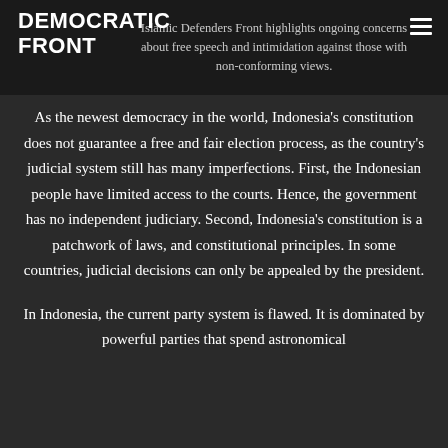DEMOCRATIC FRONT
Islamic Defenders Front highlights ongoing concerns about free speech and intimidation against those with non-conforming views.
As the newest democracy in the world, Indonesia's constitution does not guarantee a free and fair election process, as the country's judicial system still has many imperfections. First, the Indonesian people have limited access to the courts. Hence, the government has no independent judiciary. Second, Indonesia's constitution is a patchwork of laws, and constitutional principles. In some countries, judicial decisions can only be appealed by the president.
In Indonesia, the current party system is flawed. It is dominated by powerful parties that spend astronomical